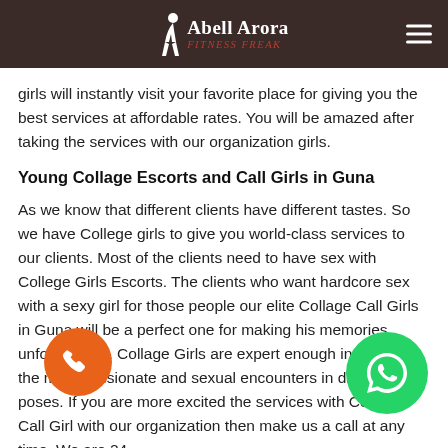Abell Arora — Fitness Freak
girls will instantly visit your favorite place for giving you the best services at affordable rates. You will be amazed after taking the services with our organization girls.
Young Collage Escorts and Call Girls in Guna
As we know that different clients have different tastes. So we have College girls to give you world-class services to our clients. Most of the clients need to have sex with College Girls Escorts. The clients who want hardcore sex with a sexy girl for those people our elite Collage Call Girls in Guna will be a perfect one for making his memories unforgettable. Collage Girls are expert enough in providing the most passionate and sexual encounters in different poses. If you are more excited the services with Collage Call Girl with our organization then make us a call at any time. We are 24